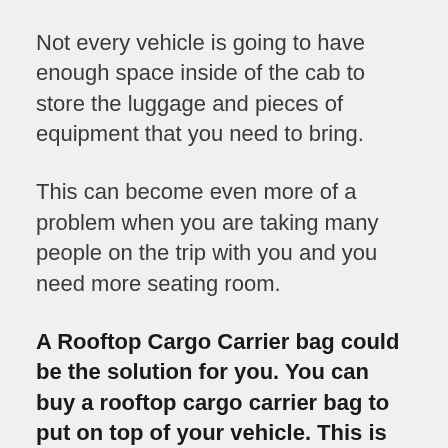Not every vehicle is going to have enough space inside of the cab to store the luggage and pieces of equipment that you need to bring.
This can become even more of a problem when you are taking many people on the trip with you and you need more seating room.
A Rooftop Cargo Carrier bag could be the solution for you. You can buy a rooftop cargo carrier bag to put on top of your vehicle. This is an extremely safe way to haul cargo and luggage when you are going on some type of a trip. It is